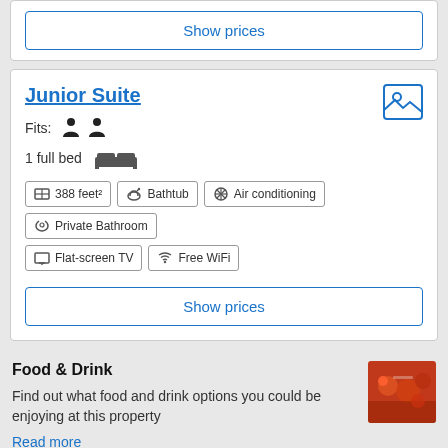Show prices
Junior Suite
Fits: [person icons]
1 full bed [bed icon]
388 feet²
Bathtub
Air conditioning
Private Bathroom
Flat-screen TV
Free WiFi
Show prices
Food & Drink
Find out what food and drink options you could be enjoying at this property
Read more